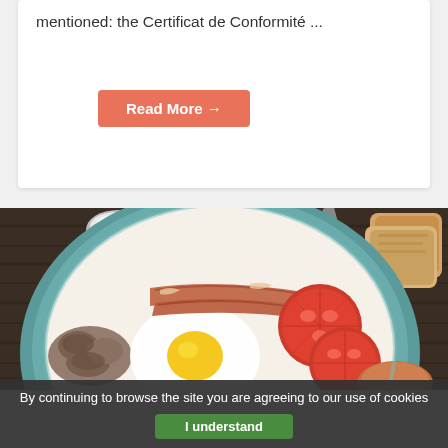mentioned: the Certificat de Conformité ...
Read More →
[Figure (photo): Overhead shot of a full English breakfast plate on a dark wooden table: fried egg, bacon rashers, sliced tomatoes, sautéed mushrooms, and toast. Small bowls of salt and peppercorns are visible in the background.]
By continuing to browse the site you are agreeing to our use of cookies
I understand